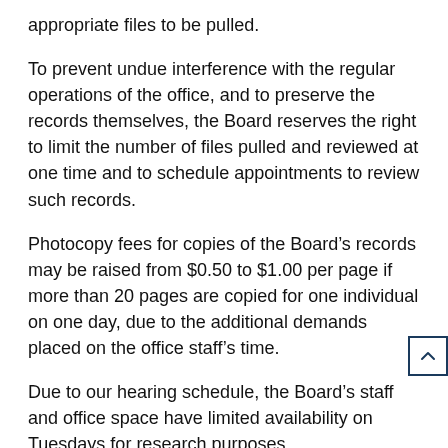appropriate files to be pulled.
To prevent undue interference with the regular operations of the office, and to preserve the records themselves, the Board reserves the right to limit the number of files pulled and reviewed at one time and to schedule appointments to review such records.
Photocopy fees for copies of the Board’s records may be raised from $0.50 to $1.00 per page if more than 20 pages are copied for one individual on one day, due to the additional demands placed on the office staff’s time.
Due to our hearing schedule, the Board’s staff and office space have limited availability on Tuesdays for research purposes.